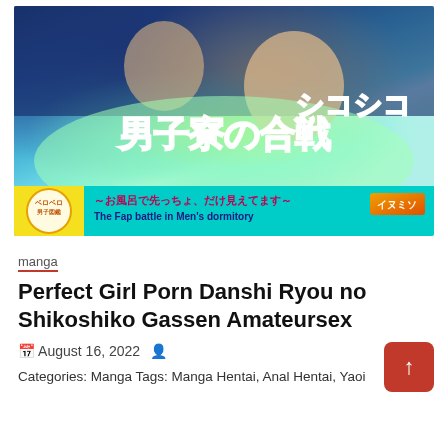[Figure (illustration): Manga/anime style cover art showing characters in school uniforms. Large Japanese text title in pink/red stylized font reading the manga title. Bottom banner shows subtitle in Japanese and English 'The Fap battle in Men's dormitory' with a yellow/teal color scheme and author badge.]
manga
Perfect Girl Porn Danshi Ryou no Shikoshiko Gassen Amateursex
August 16, 2022
Categories: Manga Tags: Manga Hentai, Anal Hentai, Yaoi